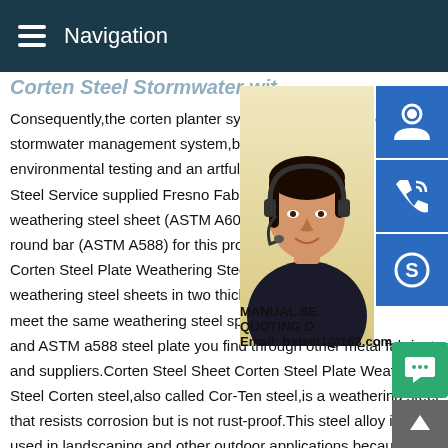Navigation
Corten Steel Stormwater with...
Consequently,the corten planter system not only provides an effective stormwater management system,but also combines environmental testing and an artful garden Steel Service supplied Fresno Fab Tech with weathering steel sheet (ASTM A606-4),and round bar (ASTM A588) for this project.The Corten Steel Plate Weathering Steel MK M weathering steel sheets in two thicknesses meet the same weathering steel specifications and ASTM a588 steel plate you find through other metal fabricators and suppliers.Corten Steel Sheet Corten Steel Plate Weathering Steel Corten steel,also called Cor-Ten steel,is a weathering steel that resists corrosion but is not rust-proof.This steel alloy is widely used in landscaping and other outdoor applications because it forms a protective layer of rust after approximately six months
[Figure (photo): Woman with headset customer service representative photo with blue icon buttons for support, phone, and Skype on the right side. Text overlays: MANUAL SE, QUOTING O, Email: bsteel1@163.com]
MANUAL SE
QUOTING O
Email: bsteel1@163.com